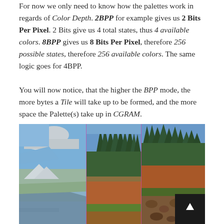For now we only need to know how the palettes work in regards of Color Depth. 2BPP for example gives us 2 Bits Per Pixel. 2 Bits give us 4 total states, thus 4 available colors. 8BPP gives us 8 Bits Per Pixel, therefore 256 possible states, therefore 256 available colors. The same logic goes for 4BPP.
You will now notice, that the higher the BPP mode, the more bytes a Tile will take up to be formed, and the more space the Palette(s) take up in CGRAM.
[Figure (illustration): A landscape image split vertically into sections showing different color depth renderings. Left portion shows a simplified flat-color/low-color version of a mountain lake scene with blue sky and muted tones. Right portions show a progressively more detailed photographic version with trees on a hillside, red/orange dirt cliff, and forest scenery. Vertical pink/magenta lines divide the sections. The image demonstrates BPP color depth differences.]